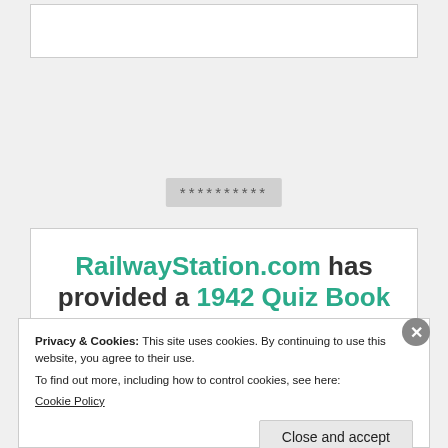[Figure (other): White content box at top of page, partially visible]
**********
RailwayStation.com has provided a 1942 Quiz Book
Privacy & Cookies: This site uses cookies. By continuing to use this website, you agree to their use.
To find out more, including how to control cookies, see here:
Cookie Policy
Close and accept